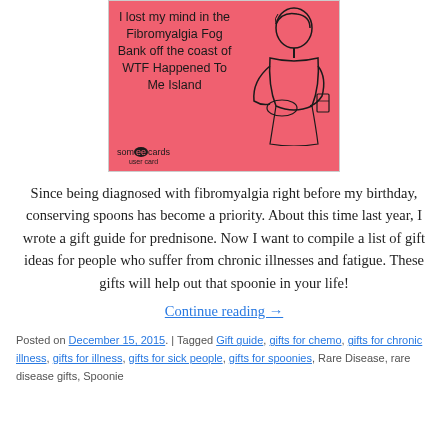[Figure (illustration): A someecards user card with pink/coral background. Text reads 'I lost my mind in the Fibromyalgia Fog Bank off the coast of WTF Happened To Me Island'. Shows a vintage-style illustration of a woman sitting and thinking. someecards user card logo at bottom left.]
Since being diagnosed with fibromyalgia right before my birthday, conserving spoons has become a priority. About this time last year, I wrote a gift guide for prednisone. Now I want to compile a list of gift ideas for people who suffer from chronic illnesses and fatigue. These gifts will help out that spoonie in your life!
Continue reading →
Posted on December 15, 2015. | Tagged Gift guide, gifts for chemo, gifts for chronic illness, gifts for illness, gifts for sick people, gifts for spoonies, Rare Disease, rare disease gifts, Spoonie